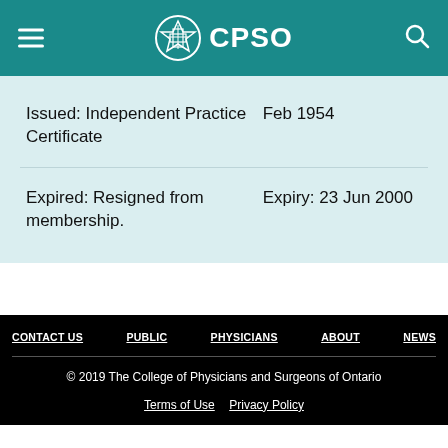CPSO
| Certificate Type | Date |
| --- | --- |
| Issued: Independent Practice Certificate | Feb 1954 |
| Expired: Resigned from membership. | Expiry: 23 Jun 2000 |
CONTACT US | PUBLIC | PHYSICIANS | ABOUT | NEWS
© 2019 The College of Physicians and Surgeons of Ontario
Terms of Use  Privacy Policy